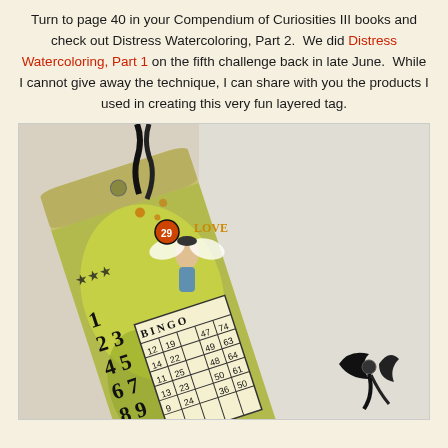Turn to page 40 in your Compendium of Curiosities III books and check out Distress Watercoloring, Part 2. We did Distress Watercoloring, Part 1 on the fifth challenge back in late June. While I cannot give away the technique, I can share with you the products I used in creating this very fun layered tag.
[Figure (photo): A decorative handmade tag with distress watercoloring technique. The tag features vintage-style elements including a bingo card, a fairy/angel figure, numbers (1-9), stars, black ribbon, and text reading 'LIFE DOESN'T GIVE YOU THE GAME YOU WANT, GET A NEW ONE'. The tag has a yellow-green watercolor background with orange and brown accents.]